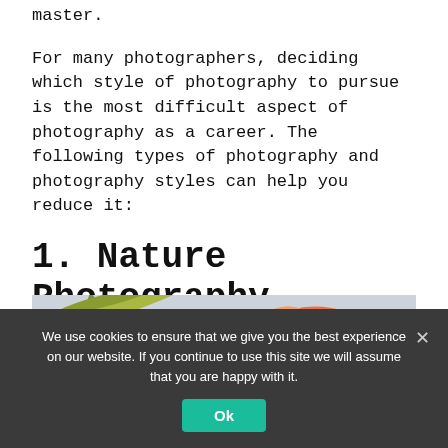master.
For many photographers, deciding which style of photography to pursue is the most difficult aspect of photography as a career. The following types of photography and photography styles can help you reduce it:
1. Nature Photography
[Figure (photo): Close-up photo of an orange/peach flower with a snail, next to green berries on branches, against a light grey background.]
We use cookies to ensure that we give you the best experience on our website. If you continue to use this site we will assume that you are happy with it.